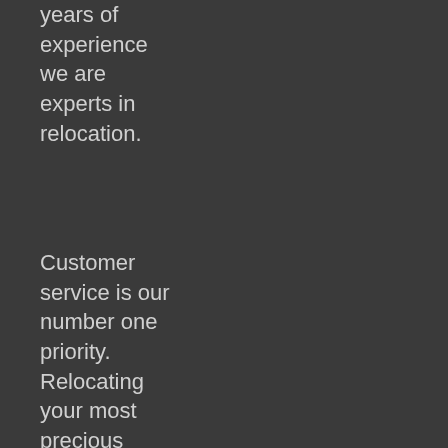years of experience we are experts in relocation.
528-0385
TxDMV No. 009567347C
USDOT: 3918729
Customer service is our number one priority. Relocating your most precious items safely, professionally and
TxDMV Toll-Free 1-888-368-4689
WORKING HOURS
Monday to